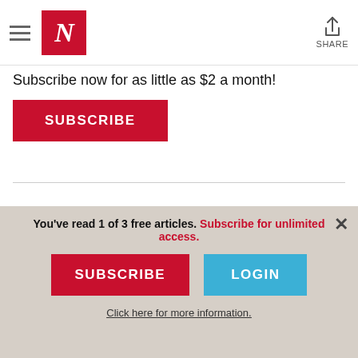N — The Nation (logo and navigation header)
Subscribe now for as little as $2 a month!
SUBSCRIBE
Cairo
During the demonstrations in January and February that led to the ouster of Egyptian
You've read 1 of 3 free articles. Subscribe for unlimited access.
SUBSCRIBE
LOGIN
Click here for more information.